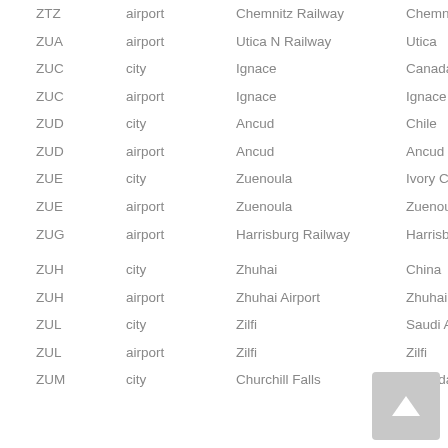| Code | Type | Name | Location |
| --- | --- | --- | --- |
| ZTZ | airport | Chemnitz Railway | Chemnitz |
| ZUA | airport | Utica N Railway | Utica |
| ZUC | city | Ignace | Canada |
| ZUC | airport | Ignace | Ignace |
| ZUD | city | Ancud | Chile |
| ZUD | airport | Ancud | Ancud |
| ZUE | city | Zuenoula | Ivory Coast |
| ZUE | airport | Zuenoula | Zuenoula |
| ZUG | airport | Harrisburg Railway | Harrisburg |
| ZUH | city | Zhuhai | China |
| ZUH | airport | Zhuhai Airport | Zhuhai |
| ZUL | city | Zilfi | Saudi Arabia |
| ZUL | airport | Zilfi | Zilfi |
| ZUM | city | Churchill Falls | Canada |